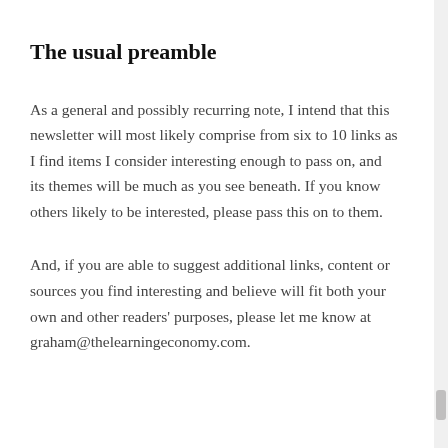The usual preamble
As a general and possibly recurring note, I intend that this newsletter will most likely comprise from six to 10 links as I find items I consider interesting enough to pass on, and its themes will be much as you see beneath. If you know others likely to be interested, please pass this on to them.
And, if you are able to suggest additional links, content or sources you find interesting and believe will fit both your own and other readers' purposes, please let me know at graham@thelearningeconomy.com.